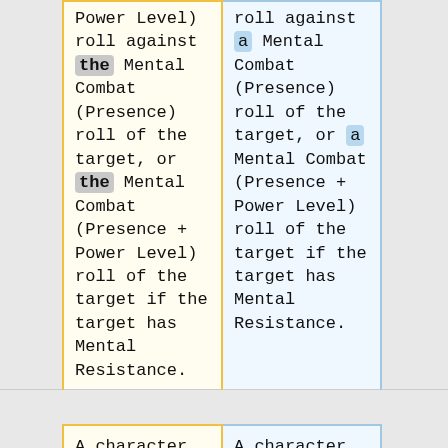|  | Column 1 | Column 2 |
| --- | --- | --- |
|  | Power Level) roll against the Mental Combat (Presence) roll of the target, or the Mental Combat (Presence + Power Level) roll of the target if the target has Mental Resistance. | roll against a Mental Combat (Presence) roll of the target, or a Mental Combat (Presence + Power Level) roll of the target if the target has Mental Resistance. |
|  | A character under the effects of Stasis can't | A character under the effects of Stasis can't |